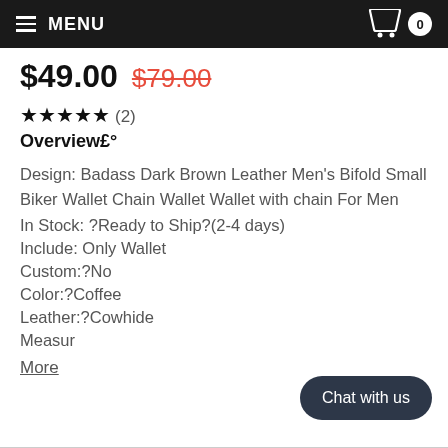MENU  0
$49.00  $79.00
★★★★★ (2)
Overview£°
Design: Badass Dark Brown Leather Men's Bifold Small Biker Wallet Chain Wallet Wallet with chain For Men
In Stock: ?Ready to Ship?(2-4 days)
Include: Only Wallet
Custom:?No
Color:?Coffee
Leather:?Cowhide
Measur
More
Chat with us